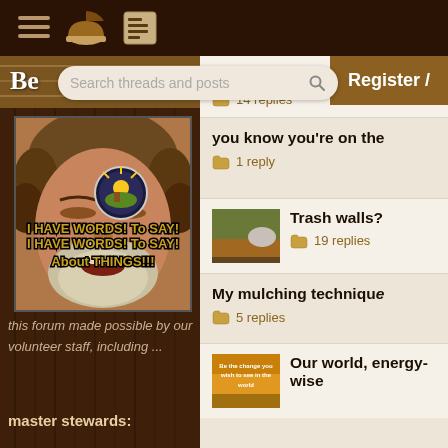[Figure (screenshot): Forum website screenshot showing navigation bar with hamburger menu, pie/book icons, search bar, sidebar with meme image and volunteer text, and thread listing on right side]
Search threads and posts
Register /
[Figure (photo): Meme image of a man squinting with text 'I HAVE WORDS! TO SAY! ABOUT THINGS!!!' and a permies.com badge]
this forum made possible by our volunteer staff, including ...
master stewards:
Farm junk / dump clea
14 replies
you know you're on the
1 reply
Trash walls?
19 replies
My mulching techniqu
5 replies
Our world, energy-wis